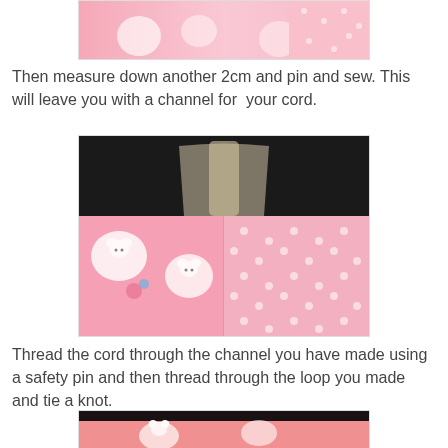[Figure (photo): Top partial photo showing pink Hello Kitty fabric and polka dot fabric, cropped at top]
Then measure down another 2cm and pin and sew. This will leave you with a channel for  your cord.
[Figure (photo): Photo of pink Hello Kitty patterned fabric next to pink polka dot fabric, showing the sewn channel, dark background above]
Thread the cord through the channel you have made using a safety pin and then thread through the loop you made and tie a knot.
[Figure (photo): Bottom partial photo showing pink Hello Kitty fabric, partially visible at bottom of page]